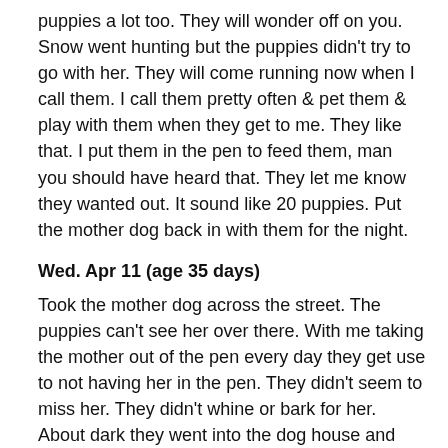puppies a lot too. They will wonder off on you. Snow went hunting but the puppies didn't try to go with her. They will come running now when I call them. I call them pretty often & pet them & play with them when they get to me. They like that. I put them in the pen to feed them, man you should have heard that. They let me know they wanted out. It sound like 20 puppies. Put the mother dog back in with them for the night.
Wed. Apr 11 (age 35 days)
Took the mother dog across the street. The puppies can't see her over there. With me taking the mother out of the pen every day they get use to not having her in the pen. They didn't seem to miss her. They didn't whine or bark for her. About dark they went into the dog house and was quite. If the mother is with them all the time they seem to miss her more when she is removed. The mother seemed more anxious than